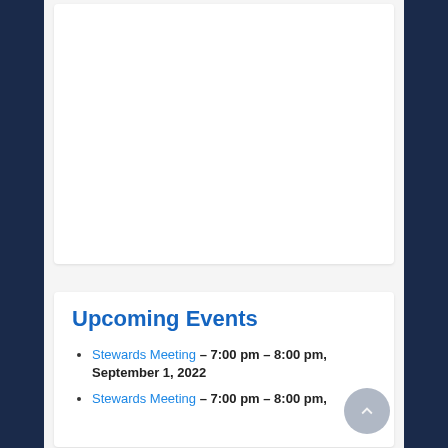[Figure (other): White card area, mostly blank/empty content area at top of page]
Upcoming Events
Stewards Meeting – 7:00 pm – 8:00 pm, September 1, 2022
Stewards Meeting – 7:00 pm – 8:00 pm,